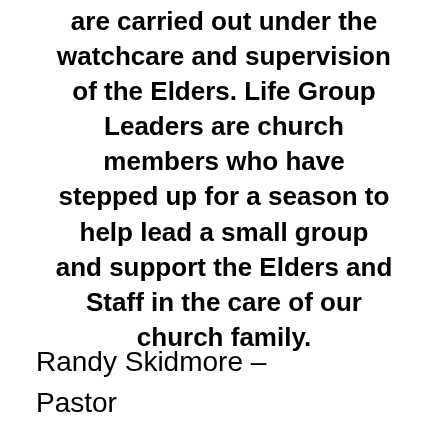are carried out under the watchcare and supervision of the Elders. Life Group Leaders are church members who have stepped up for a season to help lead a small group and support the Elders and Staff in the care of our church family.
Randy Skidmore – Pastor